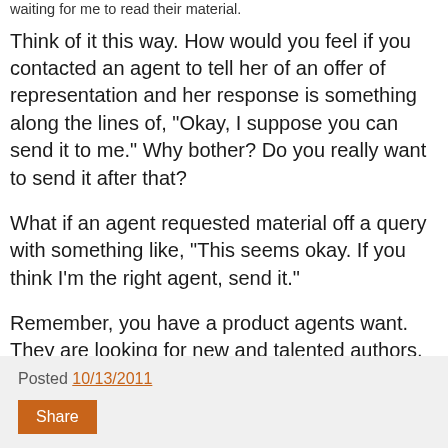waiting for me to read their material.
Think of it this way. How would you feel if you contacted an agent to tell her of an offer of representation and her response is something along the lines of, "Okay, I suppose you can send it to me." Why bother? Do you really want to send it after that?
What if an agent requested material off a query with something like, "This seems okay. If you think I'm the right agent, send it."
Remember, you have a product agents want. They are looking for new and talented authors, so present yourself that way.
Jessica
Posted 10/13/2011
Share